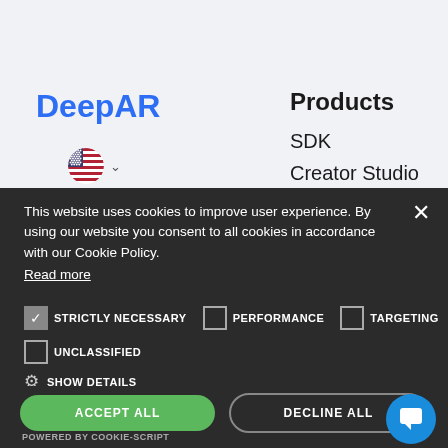[Figure (screenshot): DeepAR website navigation showing logo, flag/language selector, Products menu with SDK and Creator Studio links]
This website uses cookies to improve user experience. By using our website you consent to all cookies in accordance with our Cookie Policy. Read more
STRICTLY NECESSARY (checked), PERFORMANCE (unchecked), TARGETING (unchecked)
UNCLASSIFIED (unchecked)
SHOW DETAILS
ACCEPT ALL
DECLINE ALL
POWERED BY COOKIE-SCRIPT